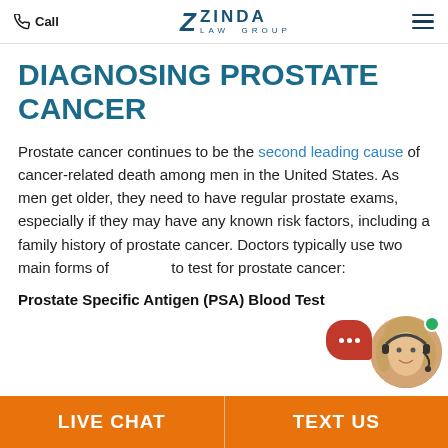Call | ZINDA LAW GROUP
DIAGNOSING PROSTATE CANCER
Prostate cancer continues to be the second leading cause of cancer-related death among men in the United States. As men get older, they need to have regular prostate exams, especially if they may have any known risk factors, including a family history of prostate cancer. Doctors typically use two main forms of to test for prostate cancer:
Prostate Specific Antigen (PSA) Blood Test
[Figure (photo): Chat widget with red speech bubble showing three white dots and a circular avatar of a blonde woman wearing a headset with a green online indicator dot]
LIVE CHAT | TEXT US